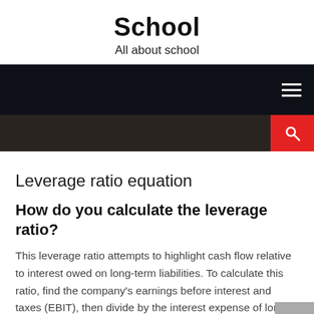School
All about school
[Figure (screenshot): Dark navigation bar with hamburger menu icon on the right]
[Figure (screenshot): Dark search bar with red search button on the right]
Leverage ratio equation
How do you calculate the leverage ratio?
This leverage ratio attempts to highlight cash flow relative to interest owed on long-term liabilities. To calculate this ratio, find the company's earnings before interest and taxes (EBIT), then divide by the interest expense of long-term